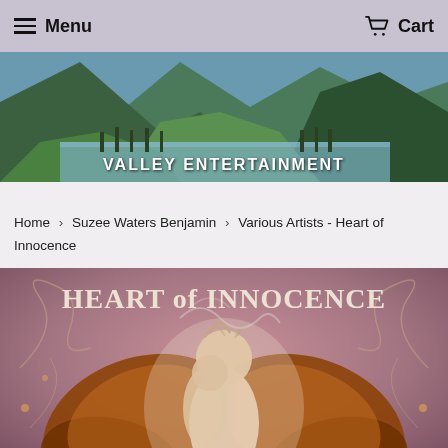Menu | Cart
[Figure (photo): Mountain valley landscape banner with lake reflection and text VALLEY ENTERTAINMENT]
Home › Suzee Waters Benjamin › Various Artists - Heart of Innocence
[Figure (illustration): Heart of Innocence album cover art showing fairy-like figures with butterfly wings and decorative swirls on a mauve background with ornate text]